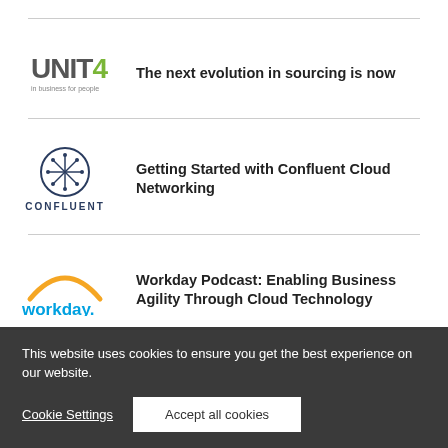[Figure (logo): Unit4 logo — 'UNIT4' in grey/green with tagline 'in business for people']
The next evolution in sourcing is now
[Figure (logo): Confluent logo — circle with asterisk-like symbol, text CONFLUENT below]
Getting Started with Confluent Cloud Networking
[Figure (logo): Workday logo — orange arc above 'workday.' in blue]
Workday Podcast: Enabling Business Agility Through Cloud Technology
[Figure (logo): Softwave/Software AG logo partially visible]
Women in BPM: An interview with Ariane
This website uses cookies to ensure you get the best experience on our website.
Cookie Settings
Accept all cookies